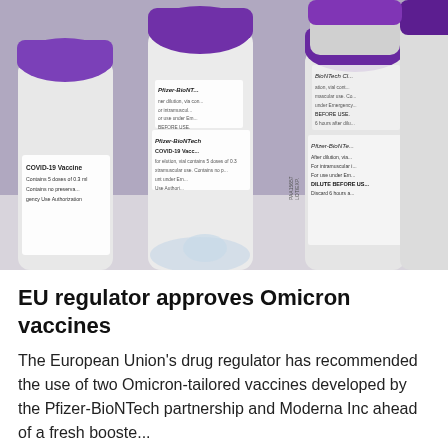[Figure (photo): Close-up photograph of multiple Pfizer-BioNTech COVID-19 vaccine vials with distinctive purple caps, showing labels with text including 'COVID-19 Vaccine', 'Contains 5 doses', 'Pfizer-BioNTech COVID-19 Vacc...', 'DILUTE BEFORE USE', and lot numbers. Vials are arranged closely together on a light surface.]
EU regulator approves Omicron vaccines
The European Union's drug regulator has recommended the use of two Omicron-tailored vaccines developed by the Pfizer-BioNTech partnership and Moderna Inc ahead of a fresh booste...